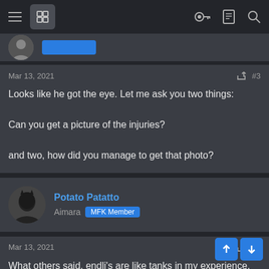Navigation bar with hamburger menu, logo, key icon, list icon, search icon
[Figure (screenshot): Partial user profile strip with avatar and blue pill button]
Mar 13, 2021   #3
Looks like he got the eye. Let me ask you two things:

Can you get a picture of the injuries?

and two, how did you manage to get that photo?
Potato Patatto
Aimara  MFK Member
Mar 13, 2021   #4
What others said, endli's are like tanks in my experience. Will depend on wounds, any open gashes? The good thing is their eyesight is pretty bad to begin with and predominately use their nose so an eye lost isn't a life threatening injury. Good water, low light and